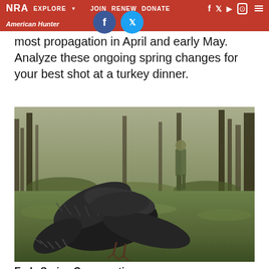NRA EXPLORE  JOIN  RENEW  DONATE
most propagation in April and early May. Analyze these ongoing spring changes for your best shot at a turkey dinner.
[Figure (photo): A harvested wild turkey lying on green spring grass in a wooded hillside setting, with a hunter in camouflage standing in the background among bare trees.]
Early Spring Congregation
As winter transitions to spring, large winter flocks of